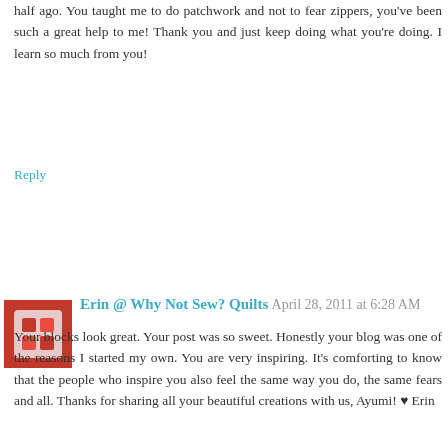half ago. You taught me to do patchwork and not to fear zippers, you've been such a great help to me! Thank you and just keep doing what you're doing. I learn so much from you!
Reply
Erin @ Why Not Sew? Quilts  April 28, 2011 at 6:28 AM
Your blocks look great. Your post was so sweet. Honestly your blog was one of the reasons I started my own. You are very inspiring. It's comforting to know that the people who inspire you also feel the same way you do, the same fears and all. Thanks for sharing all your beautiful creations with us, Ayumi! ♥ Erin
Reply
erica  April 28, 2011 at 7:25 AM
Ayumi! This is beautiful! I have been gearing up for your Ringo Pie month as well, its such a fun theme. I finally have